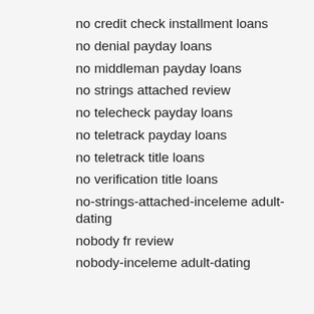no credit check installment loans
no denial payday loans
no middleman payday loans
no strings attached review
no telecheck payday loans
no teletrack payday loans
no teletrack title loans
no verification title loans
no-strings-attached-inceleme adult-dating
nobody fr review
nobody-inceleme adult-dating